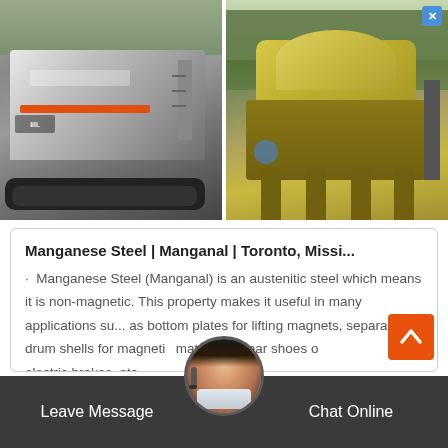[Figure (photo): Two photos side by side: left shows a mobile crawler crusher machine in grayscale/dark tones inside a facility; right shows a large yellow stationary impact crusher machine outdoors with green trees in the background.]
Manganese Steel | Manganal | Toronto, Missi...
· Manganese Steel (Manganal) is an austenitic steel which means it is non-magnetic. This property makes it useful in many applications su... as bottom plates for lifting magnets, separator drum shells for magnetic materials, wear shoes of electric brakes, etc.
Leave Message    Chat Online